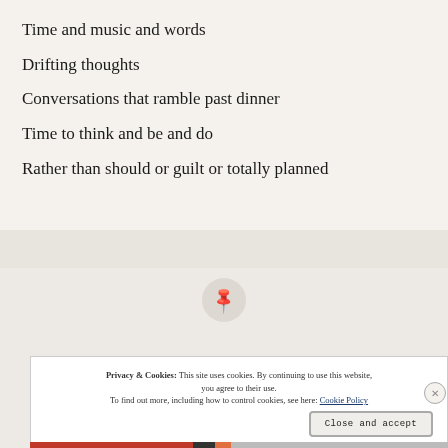Time and music and words
Drifting thoughts
Conversations that ramble past dinner
Time to think and be and do
Rather than should or guilt or totally planned
[Figure (other): Pin/thumbtack icon in a circular grey button]
Privacy & Cookies: This site uses cookies. By continuing to use this website, you agree to their use. To find out more, including how to control cookies, see here: Cookie Policy
Close and accept